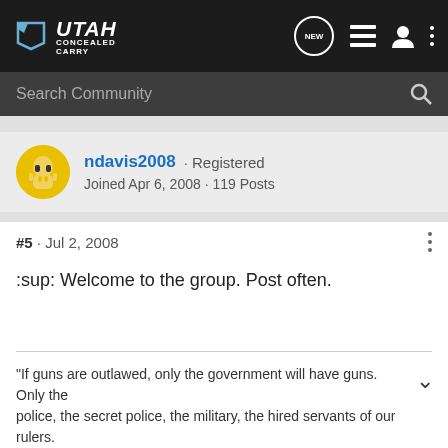Utah Concealed Carry — Navigation bar
Search Community
ndavis2008 · Registered
Joined Apr 6, 2008 · 119 Posts
#5 · Jul 2, 2008
:sup: Welcome to the group. Post often.
"If guns are outlawed, only the government will have guns. Only the police, the secret police, the military, the hired servants of our rulers.
[Figure (other): LAX Ammunition advertisement banner: FREE SHIPPING for 1st TIME BUYERS! SIGN UP NOW!]